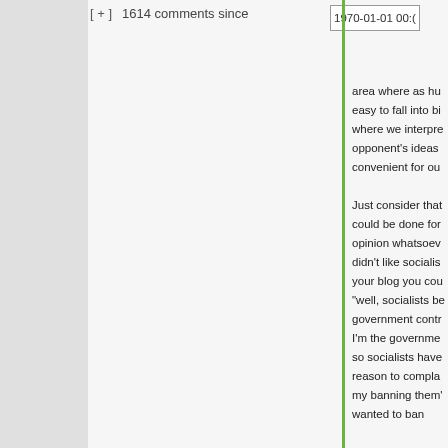[ + ]  1614 comments since  1970-01-01 00:(
area where as hu easy to fall into bi where we interpre opponent's ideas convenient for ou Just consider that could be done for opinion whatsoev didn't like socialis your blog you cou "well, socialists be government contr I'm the governme so socialists have reason to compla my banning them' wanted to ban